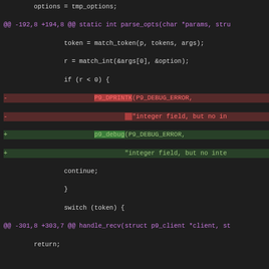Code diff showing replacement of P9_DPRINTK with p9_debug calls in Linux kernel 9P filesystem driver
[Figure (screenshot): Git diff output showing code changes replacing P9_DPRINTK calls with p9_debug calls across multiple hunks]